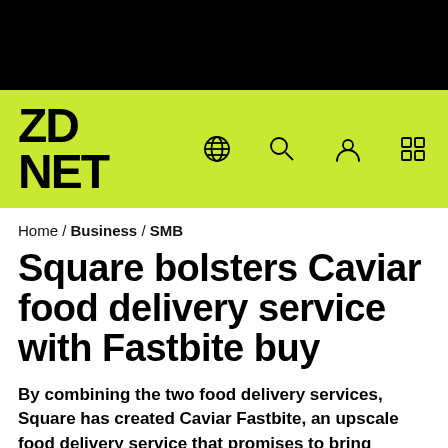ZDNET
Home / Business / SMB
Square bolsters Caviar food delivery service with Fastbite buy
By combining the two food delivery services, Square has created Caviar Fastbite, an upscale food delivery service that promises to bring